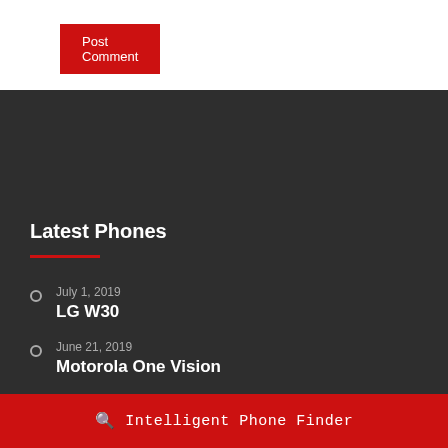Post Comment
Latest Phones
July 1, 2019
LG W30
June 21, 2019
Motorola One Vision
June 14, 2019
Samsung Galaxy M40
June 12, 2019
H...
Intelligent Phone Finder